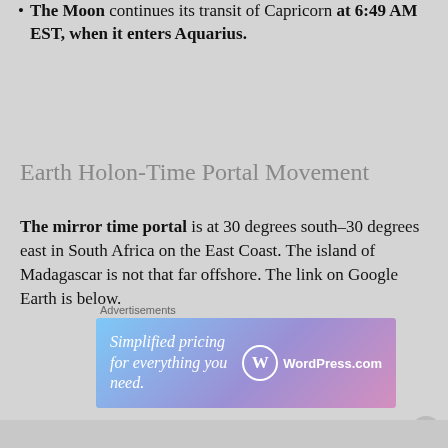The Moon continues its transit of Capricorn at 6:49 AM EST, when it enters Aquarius.
Earth Holon-Time Portal Movement
The mirror time portal is at 30 degrees south–30 degrees east in South Africa on the East Coast. The island of Madagascar is not that far offshore. The link on Google Earth is below.
[Figure (other): Advertisement banner for WordPress.com: 'Simplified pricing for everything you need.' with WordPress logo]
https://earth.google.com/web/@-30.03121467,30.242
Advertisements
Advertisements